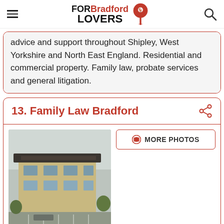FOR Bradford LOVERS
advice and support throughout Shipley, West Yorkshire and North East England. Residential and commercial property. Family law, probate services and general litigation.
13. Family Law Bradford
[Figure (photo): Exterior photo of a modern multi-storey office building with parking area, overcast sky]
MORE PHOTOS